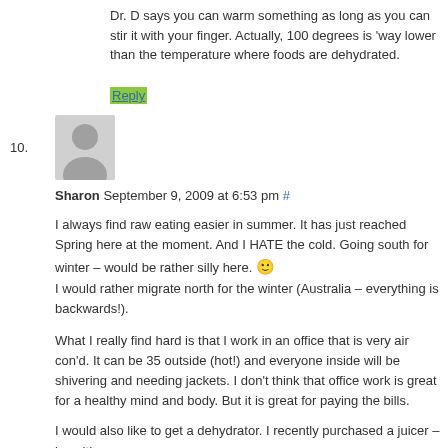Dr. D says you can warm something as long as you can stir it with your finger. Actually, 100 degrees is 'way lower than the temperature where foods are dehydrated.
Reply
[Figure (illustration): Generic user avatar icon (gray silhouette of a person on light gray background)]
10.
Sharon September 9, 2009 at 6:53 pm #
I always find raw eating easier in summer. It has just reached Spring here at the moment. And I HATE the cold. Going south for winter – would be rather silly here. 🙂 I would rather migrate north for the winter (Australia – everything is backwards!).
What I really find hard is that I work in an office that is very air con'd. It can be 35 outside (hot!) and everyone inside will be shivering and needing jackets. I don't think that office work is great for a healthy mind and body. But it is great for paying the bills.
I would also like to get a dehydrator. I recently purchased a juicer – love it!